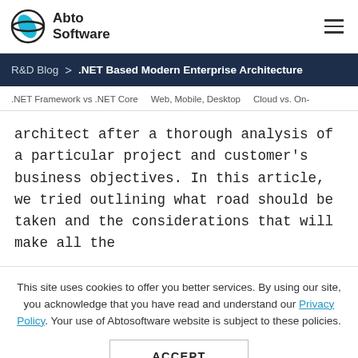Abto Software
R&D Blog > .NET Based Modern Enterprise Architecture
.NET Framework vs .NET Core   Web, Mobile, Desktop   Cloud vs. On-
architect after a thorough analysis of a particular project and customer's business objectives. In this article, we tried outlining what road should be taken and the considerations that will make all the
This site uses cookies to offer you better services. By using our site, you acknowledge that you have read and understand our Privacy Policy. Your use of Abtosoftware website is subject to these policies. ACCEPT